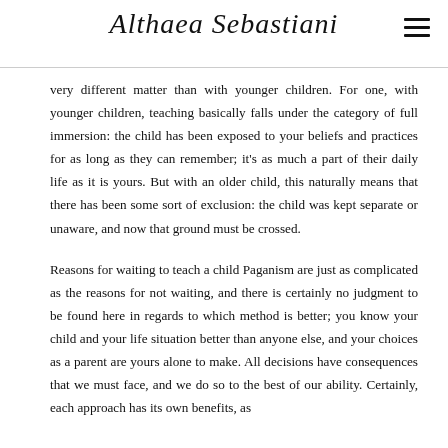Althaea Sebastiani
very different matter than with younger children. For one, with younger children, teaching basically falls under the category of full immersion: the child has been exposed to your beliefs and practices for as long as they can remember; it's as much a part of their daily life as it is yours. But with an older child, this naturally means that there has been some sort of exclusion: the child was kept separate or unaware, and now that ground must be crossed.
Reasons for waiting to teach a child Paganism are just as complicated as the reasons for not waiting, and there is certainly no judgment to be found here in regards to which method is better; you know your child and your life situation better than anyone else, and your choices as a parent are yours alone to make. All decisions have consequences that we must face, and we do so to the best of our ability. Certainly, each approach has its own benefits, as